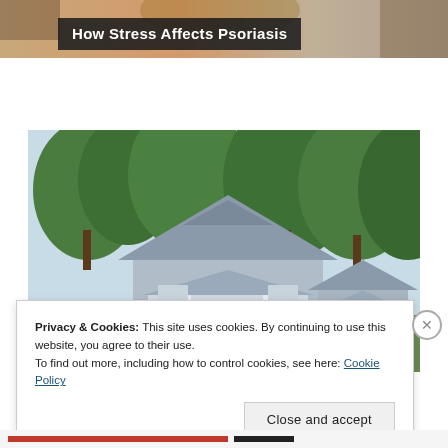[Figure (photo): Top portion of a person's body visible at top of page, cropped]
How Stress Affects Psoriasis
[Figure (photo): Photograph of light blue cottage-style houses with white porches and trim, surrounded by trees]
Privacy & Cookies: This site uses cookies. By continuing to use this website, you agree to their use.
To find out more, including how to control cookies, see here: Cookie Policy
Close and accept